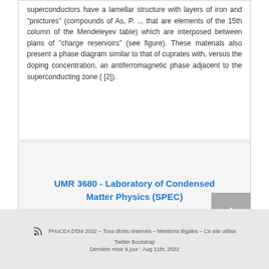superconductors have a lamellar structure with layers of iron and "pnictures" (compounds of As, P. .., that are elements of the 15th column of the Mendeleyev table) which are interposed between plans of "charge reservoirs" (see figure). These materials also present a phase diagram similar to that of cuprates with, versus the doping concentration, an antiferromagnetic phase adjacent to the superconducting zone ( [2]).
UMR 3680 - Laboratory of Condensed Matter Physics (SPEC)
PHoCEA DSM 2022 – Tous droits réservés – Mentions légales – Ce site utilise Twitter Bootstrap
Dernière mise à jour : Aug 11th, 2022